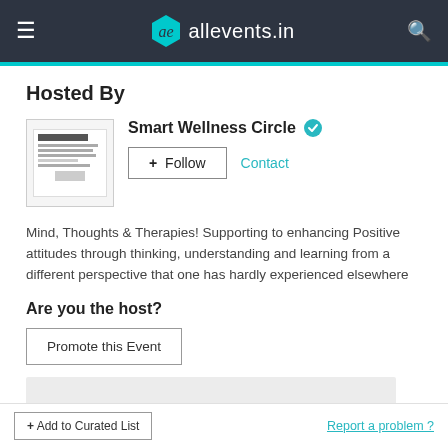ae allevents.in
Hosted By
[Figure (screenshot): Smart Wellness Circle host profile with thumbnail image, verified badge, Follow and Contact buttons]
Mind, Thoughts & Therapies! Supporting to enhancing Positive attitudes through thinking, understanding and learning from a different perspective that one has hardly experienced elsewhere
Are you the host?
Promote this Event
+ Add to Curated List   Report a problem ?